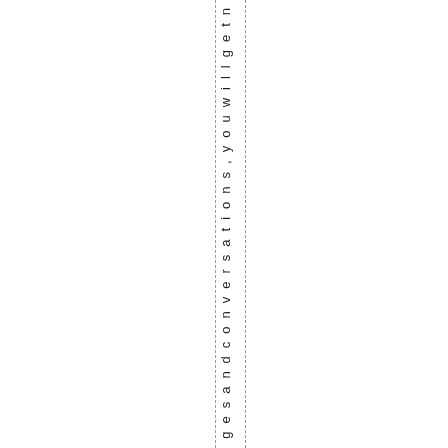gesandconversations,youwillgetn